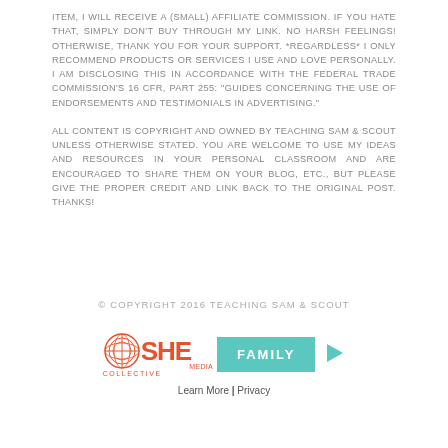ITEM, I WILL RECEIVE A (SMALL) AFFILIATE COMMISSION. IF YOU HATE THAT, SIMPLY DON'T BUY THROUGH MY LINK. NO HARSH FEELINGS! OTHERWISE, THANK YOU FOR YOUR SUPPORT. *REGARDLESS* I ONLY RECOMMEND PRODUCTS OR SERVICES I USE AND LOVE PERSONALLY. I AM DISCLOSING THIS IN ACCORDANCE WITH THE FEDERAL TRADE COMMISSION'S 16 CFR, PART 255: "GUIDES CONCERNING THE USE OF ENDORSEMENTS AND TESTIMONIALS IN ADVERTISING."
ALL CONTENT IS COPYRIGHT AND OWNED BY TEACHING SAM & SCOUT UNLESS OTHERWISE STATED. YOU ARE WELCOME TO USE MY IDEAS AND RESOURCES IN YOUR PERSONAL CLASSROOM AND ARE ENCOURAGED TO SHARE THEM ON YOUR BLOG, ETC., BUT PLEASE GIVE THE PROPER CREDIT AND LINK BACK TO THE ORIGINAL POST. THANKS!
© COPYRIGHT 2016 TEACHING SAM & SCOUT
[Figure (logo): SHE Media Collective Family logo with teal FAMILY badge and play button icon]
Learn More | Privacy